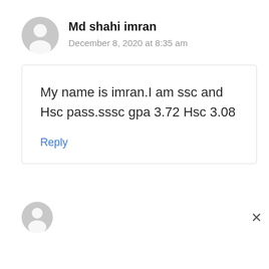[Figure (illustration): User avatar - grey silhouette person icon circle]
Md shahi imran
December 8, 2020 at 8:35 am
My name is imran.I am ssc and Hsc pass.sssc gpa 3.72 Hsc 3.08
Reply
[Figure (illustration): Partial user avatar - grey silhouette person icon circle at bottom]
×